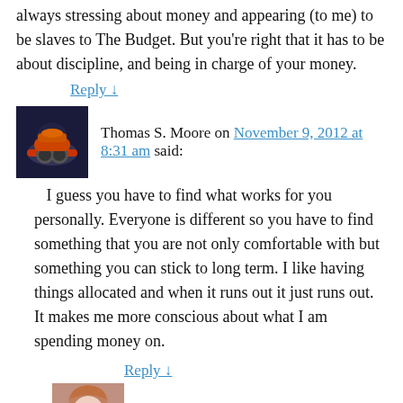always stressing about money and appearing (to me) to be slaves to The Budget. But you're right that it has to be about discipline, and being in charge of your money.
Reply ↓
Thomas S. Moore on November 9, 2012 at 8:31 am said:
I guess you have to find what works for you personally. Everyone is different so you have to find something that you are not only comfortable with but something you can stick to long term. I like having things allocated and when it runs out it just runs out. It makes me more conscious about what I am spending money on.
Reply ↓
Miranda on November 9, 2012 at 8:36 am said:
I agree that you need to find what works for you. The joys of PERSONAL finance. I love, too, that you mention being conscious about what you're spending money on. You really do need to pay attention to where your money is